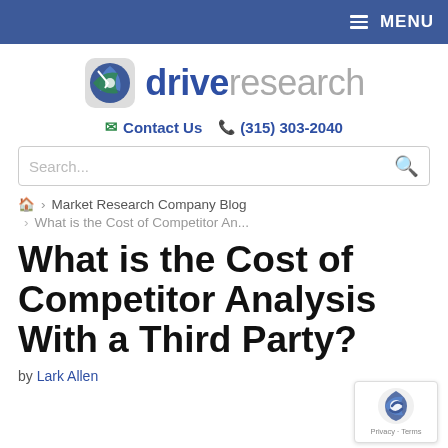MENU
[Figure (logo): Drive Research logo with compass icon and brand name 'driveresearch']
Contact Us  (315) 303-2040
Search...
Market Research Company Blog
What is the Cost of Competitor An...
What is the Cost of Competitor Analysis With a Third Party?
by Lark Allen